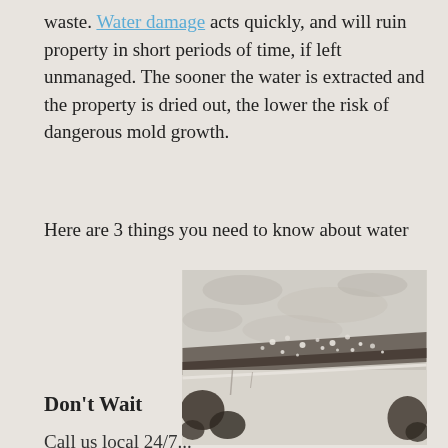waste. Water damage acts quickly, and will ruin property in short periods of time, if left unmanaged. The sooner the water is extracted and the property is dried out, the lower the risk of dangerous mold growth.
Here are 3 things you need to know about water
[Figure (photo): Close-up black and white photo of a water-damaged surface, showing a corner where a ceiling or wall meets, with water droplets, moisture stains, and mold/dark discoloration along the edges.]
damage.
Don't Wait
Call us local 24/7...